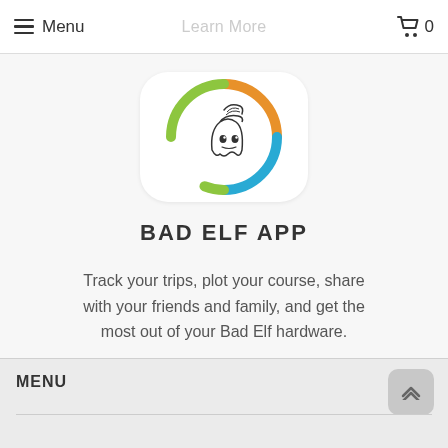Menu  Learn More  0
[Figure (logo): Bad Elf App icon: circular logo with orange, green, and blue arc segments surrounding a cartoon ghost/elf character with a striped hat]
BAD ELF APP
Track your trips, plot your course, share with your friends and family, and get the most out of your Bad Elf hardware.
Learn More
MENU